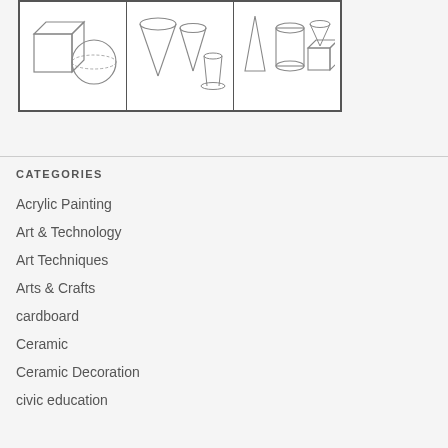[Figure (illustration): Three-panel strip showing line drawings of geometric 3D shapes: left panel has a cube and sphere, middle panel has ice cream cone-like shapes and vases, right panel has various geometric solids including pyramid, cylinder, cube, and cone]
CATEGORIES
Acrylic Painting
Art & Technology
Art Techniques
Arts & Crafts
cardboard
Ceramic
Ceramic Decoration
civic education